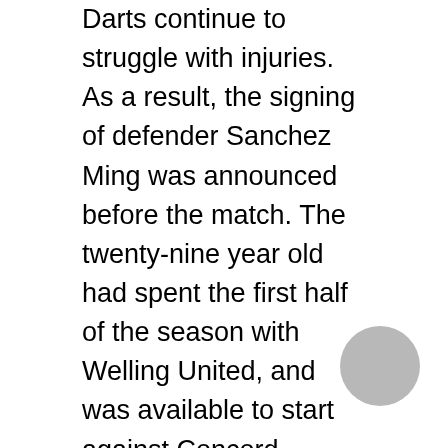Darts continue to struggle with injuries. As a result, the signing of defender Sanchez Ming was announced before the match. The twenty-nine year old had spent the first half of the season with Welling United, and was available to start against Concord Rangers. The signing of twenty-four year old striker, Marcel Barrington, was also announced before the match. The former Braintree and Beach Boys player was also available for selection, and he took his place on the substitutes bench, as the hosts intended on producing a double over their opponents.
However, a tale of two penalties and poor decision making resulted in Dartford falling to an eighth defeat of the season in front of 971 supporters, leaving them just six points clear of the drop zone.
A tight first half saw both sides refusing to spread any festive cheer, as neither handed out any gifts and clear-